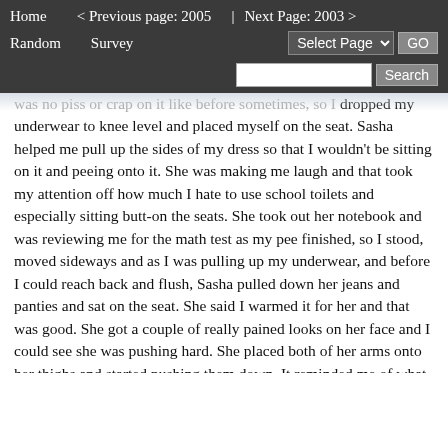Home   < Previous page: 2005   |   Next Page: 2003 >   Random   Survey   Select Page   GO   Search
was no piss or crap on it like before sometimes, so I dropped my underwear to knee level and placed myself on the seat. Sasha helped me pull up the sides of my dress so that I wouldn't be sitting on it and peeing onto it. She was making me laugh and that took my attention off how much I hate to use school toilets and especially sitting butt-on the seats. She took out her notebook and was reviewing me for the math test as my pee finished, so I stood, moved sideways and as I was pulling up my underwear, and before I could reach back and flush, Sasha pulled down her jeans and panties and sat on the seat. She said I warmed it for her and that was good. She got a couple of really pained looks on her face and I could see she was pushing hard. She placed both of her arms onto her thighs and started pushing them down. It reminded me of what motions my Mom makes when we stop up the stool at home and she has to put her weight into the plunger.
Sasha was really pushing on her thighs and doing some rocking. I told her I was surprised she wasn't going to